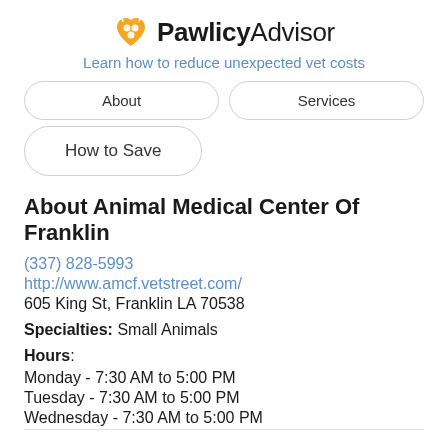PawlicyAdvisor — Learn how to reduce unexpected vet costs
About | Services
How to Save
About Animal Medical Center Of Franklin
(337) 828-5993
http://www.amcf.vetstreet.com/
605 King St, Franklin LA 70538
Specialties: Small Animals
Hours:
Monday - 7:30 AM to 5:00 PM
Tuesday - 7:30 AM to 5:00 PM
Wednesday - 7:30 AM to 5:00 PM